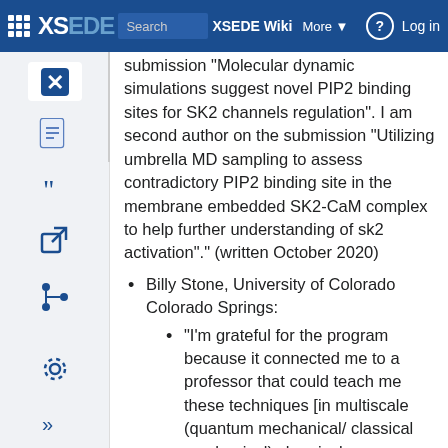XSEDE Wiki | Search XSEDE Wiki | More | Log in
submission "Molecular dynamic simulations suggest novel PIP2 binding sites for SK2 channels regulation". I am second author on the submission "Utilizing umbrella MD sampling to assess contradictory PIP2 binding site in the membrane embedded SK2-CaM complex to help further understanding of sk2 activation"." (written October 2020)
Billy Stone, University of Colorado Colorado Springs:
"I'm grateful for the program because it connected me to a professor that could teach me these techniques [in multiscale (quantum mechanical/ classical mechanical) chemical simulations]. I am presenting at the Biophysical Society annual